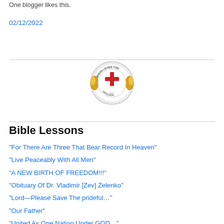One blogger likes this.
02/12/2022
[Figure (logo): A religious/firefighter emblem with a red cross in the center, gold flame decorations on the sides, and text around the border reading 'JESUS LOVES YOU' and 'MEMORIAL' at the bottom.]
Bible Lessons
“For There Are Three That Bear Record In Heaven”
“Live Peaceably With All Men”
“A NEW BIRTH OF FREEDOM!!!”
“Obituary Of Dr. Vladimir [Zev] Zelenko”
“Lord—Please Save The prideful…”
“Our Father”
“United As One Nation Under GOD…”